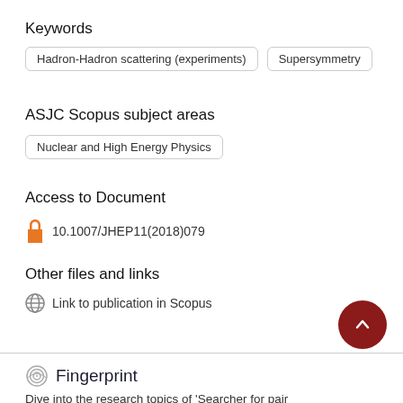Keywords
Hadron-Hadron scattering (experiments)
Supersymmetry
ASJC Scopus subject areas
Nuclear and High Energy Physics
Access to Document
10.1007/JHEP11(2018)079
Other files and links
Link to publication in Scopus
Fingerprint
Dive into the research topics of 'Searcher for pair